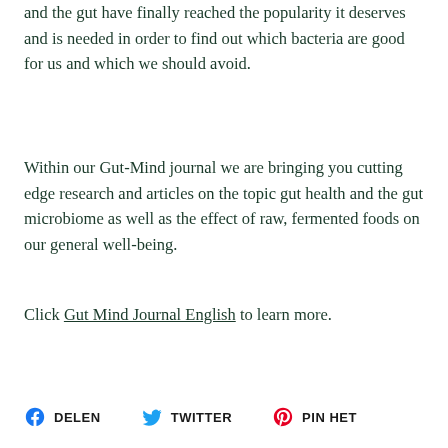and the gut have finally reached the popularity it deserves and is needed in order to find out which bacteria are good for us and which we should avoid.
Within our Gut-Mind journal we are bringing you cutting edge research and articles on the topic gut health and the gut microbiome as well as the effect of raw, fermented foods on our general well-being.
Click Gut Mind Journal English to learn more.
DELEN   TWITTER   PIN HET